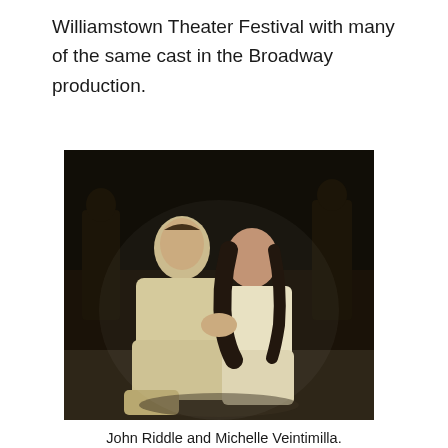Williamstown Theater Festival with many of the same cast in the Broadway production.
[Figure (photo): Two actors in a theatrical scene — a man in light cream period costume and a woman in a white off-shoulder dress, sitting close together face-to-face on a stage floor, holding hands. Two other figures stand in the background in dim lighting.]
John Riddle and Michelle Veintimilla. Photo by Joan Marcus.